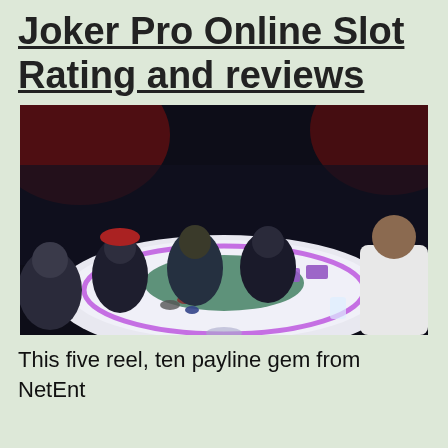Joker Pro Online Slot Rating and reviews
[Figure (photo): People sitting and standing around a glowing illuminated casino poker table with purple LED lighting, in a dark venue with red ambient lighting in the background. A dealer in a white shirt stands on the right side, and several players are seated around the table.]
This five reel, ten payline gem from NetEnt